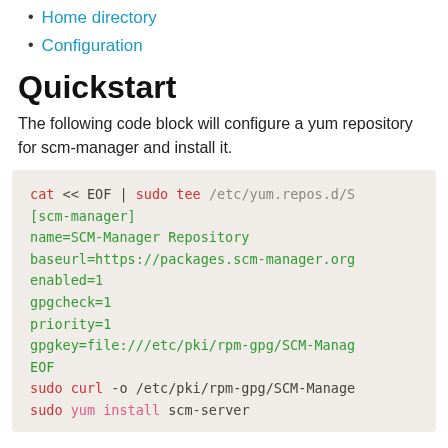Home directory
Configuration
Quickstart
The following code block will configure a yum repository for scm-manager and install it.
[Figure (screenshot): Code block showing shell commands to configure a yum repository for scm-manager: cat << EOF | sudo tee /etc/yum.repos.d/S [scm-manager] name=SCM-Manager Repository baseurl=https://packages.scm-manager.org enabled=1 gpgcheck=1 priority=1 gpgkey=file:///etc/pki/rpm-gpg/SCM-Manag EOF sudo curl -o /etc/pki/rpm-gpg/SCM-Manage sudo yum install scm-server]